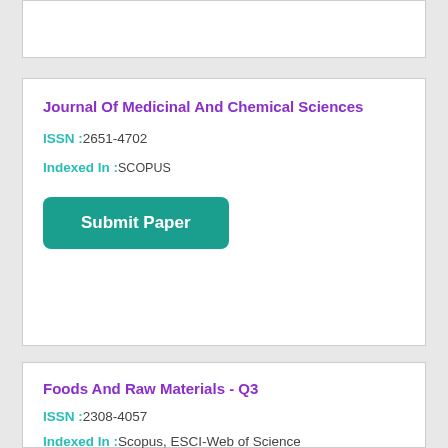Journal Of Medicinal And Chemical Sciences
ISSN :2651-4702
Indexed In :SCOPUS
Submit Paper
Foods And Raw Materials - Q3
ISSN :2308-4057
Indexed In :Scopus, ESCI-Web of Science